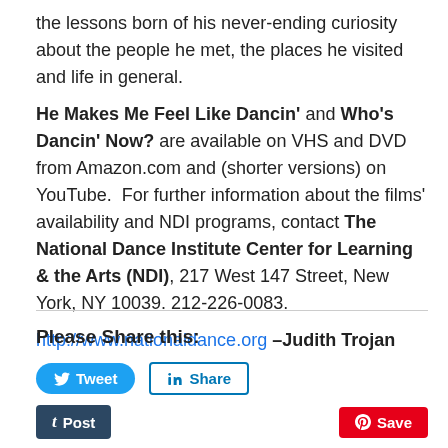the lessons born of his never-ending curiosity about the people he met, the places he visited and life in general.

He Makes Me Feel Like Dancin' and Who's Dancin' Now? are available on VHS and DVD from Amazon.com and (shorter versions) on YouTube. For further information about the films' availability and NDI programs, contact The National Dance Institute Center for Learning & the Arts (NDI), 217 West 147 Street, New York, NY 10039. 212-226-0083.
http://www.nationaldance.org –Judith Trojan
Please Share this:
[Figure (other): Social share buttons: Tweet (Twitter), Share (LinkedIn), Post (Tumblr), Save (Pinterest)]